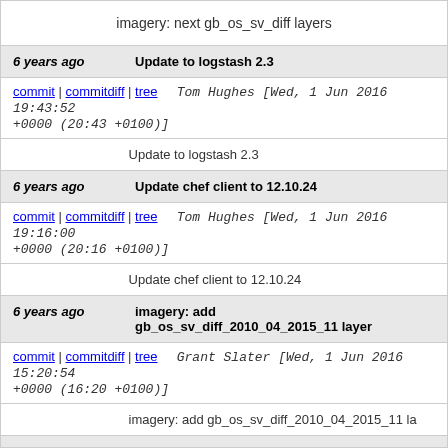imagery: next gb_os_sv_diff layers
6 years ago	Update to logstash 2.3
commit | commitdiff | tree   Tom Hughes [Wed, 1 Jun 2016 19:43:52 +0000 (20:43 +0100)]
Update to logstash 2.3
6 years ago	Update chef client to 12.10.24
commit | commitdiff | tree   Tom Hughes [Wed, 1 Jun 2016 19:16:00 +0000 (20:16 +0100)]
Update chef client to 12.10.24
6 years ago	imagery: add gb_os_sv_diff_2010_04_2015_11 layer
commit | commitdiff | tree   Grant Slater [Wed, 1 Jun 2016 15:20:54 +0000 (16:20 +0100)]
imagery: add gb_os_sv_diff_2010_04_2015_11 la
6 years ago	Tweak temperature thresholds for grisu and kessie